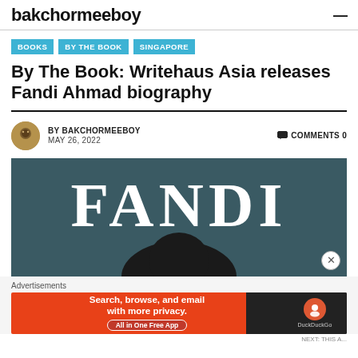bakchormeeboy
BOOKS
BY THE BOOK
SINGAPORE
By The Book: Writehaus Asia releases Fandi Ahmad biography
BY BAKCHORMEEBOY   COMMENTS 0
MAY 26, 2022
[Figure (photo): Book cover showing large white serif text 'FANDI' on dark teal background with a person's head silhouette at the bottom]
Advertisements
[Figure (other): DuckDuckGo advertisement banner: 'Search, browse, and email with more privacy. All in One Free App' with DuckDuckGo logo on dark right panel]